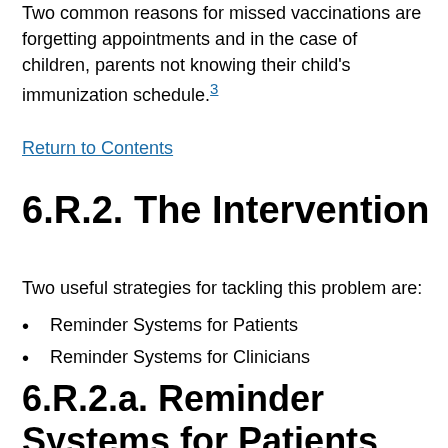completed the full series of childhood vaccinations. Two common reasons for missed vaccinations are forgetting appointments and in the case of children, parents not knowing their child's immunization schedule.3
Return to Contents
6.R.2. The Intervention
Two useful strategies for tackling this problem are:
Reminder Systems for Patients
Reminder Systems for Clinicians
6.R.2.a. Reminder Systems for Patients